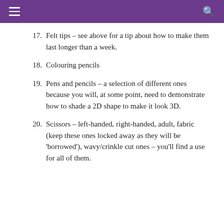17. Felt tips – see above for a tip about how to make them last longer than a week.
18. Colouring pencils
19. Pens and pencils – a selection of different ones because you will, at some point, need to demonstrate how to shade a 2D shape to make it look 3D.
20. Scissors – left-handed, right-handed, adult, fabric (keep these ones locked away as they will be 'borrowed'), wavy/crinkle cut ones – you'll find a use for all of them.